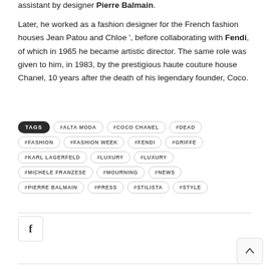assistant by designer Pierre Balmain.
Later, he worked as a fashion designer for the French fashion houses Jean Patou and Chloe ', before collaborating with Fendi, of which in 1965 he became artistic director. The same role was given to him, in 1983, by the prestigious haute couture house Chanel, 10 years after the death of his legendary founder, Coco.
#ALTA MODA
#COCO CHANEL
#DEAD
#FASHION
#FASHION WEEK
#FENDI
#GRIFFE
#KARL LAGERFELD
#LUXURY
#LUXURY
#MICHELE FRANZESE
#MOURNING
#NEWS
#PIERRE BALMAIN
#PRESS
#STILISTA
#STYLE